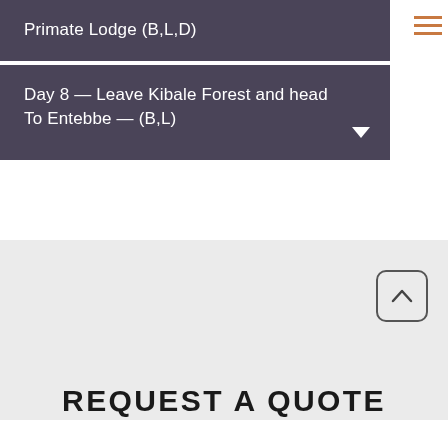Primate Lodge (B,L,D)
Day 8 — Leave Kibale Forest and head To Entebbe — (B,L)
REQUEST A QUOTE